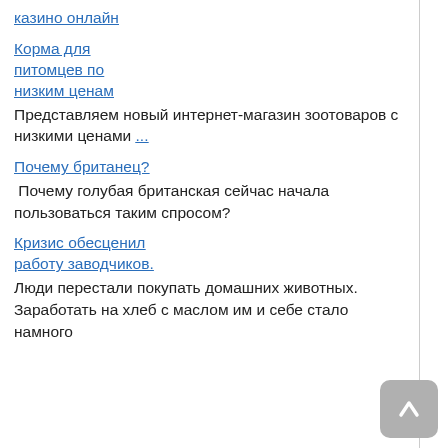казино онлайн
Корма для питомцев по низким ценам
Представляем новый интернет-магазин зоотоваров с низкими ценами ...
Почему британец?
Почему голубая британская сейчас начала пользоваться таким спросом?
Кризис обесценил работу заводчиков.
Люди перестали покупать домашних животных. Заработать на хлеб с маслом им и себе стало намного